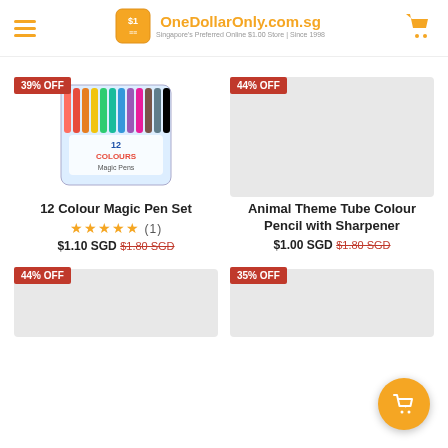OneDollarOnly.com.sg — Singapore's Preferred Online $1.00 Store | Since 1998
39% OFF
[Figure (photo): 12 Colour Magic Pen Set product image — a blister-packaged set of 12 coloured marker pens]
44% OFF
[Figure (photo): Animal Theme Tube Colour Pencil with Sharpener — product image area (blank/loading)]
12 Colour Magic Pen Set
★★★★★ (1)
$1.10 SGD  $1.80 SGD
Animal Theme Tube Colour Pencil with Sharpener
$1.00 SGD  $1.80 SGD
44% OFF
35% OFF